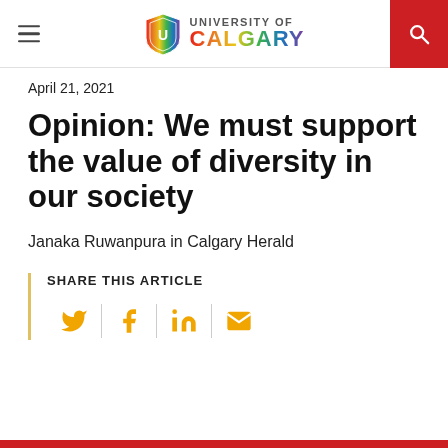University of Calgary
April 21, 2021
Opinion: We must support the value of diversity in our society
Janaka Ruwanpura in Calgary Herald
SHARE THIS ARTICLE
[Figure (infographic): Social share icons: Twitter, Facebook, LinkedIn, Email in golden/amber color with vertical dividers]